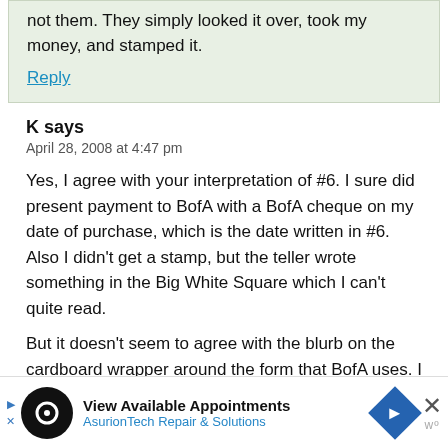not them. They simply looked it over, took my money, and stamped it.
Reply
K says
April 28, 2008 at 4:47 pm
Yes, I agree with your interpretation of #6. I sure did present payment to BofA with a BofA cheque on my date of purchase, which is the date written in #6. Also I didn't get a stamp, but the teller wrote something in the Big White Square which I can't quite read.
But it doesn't seem to agree with the blurb on the cardboard wrapper around the form that BofA uses. I would be happy to scan that in and
View Available Appointments
AsurionTech Repair & Solutions